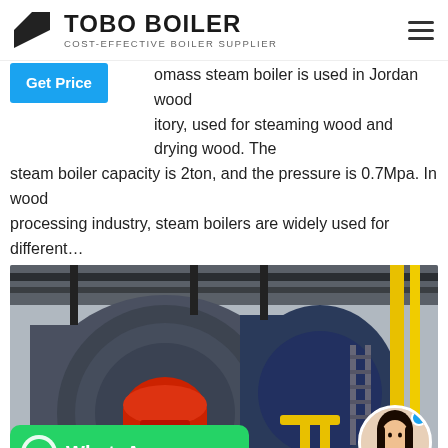TOBO BOILER — COST-EFFECTIVE BOILER SUPPLIER
omass steam boiler is used in Jordan wood tory, used for steaming wood and drying wood. The steam boiler capacity is 2ton, and the pressure is 0.7Mpa. In wood processing industry, steam boilers are widely used for different…
[Figure (photo): Industrial boilers in a factory setting — large cylindrical steam boilers with red burner heads, yellow pipes, and black piping on the ceiling; WhatsApp button overlay at bottom left and circular avatar photo at bottom right]
High Tech coal steam boiler economizer Of Industrial